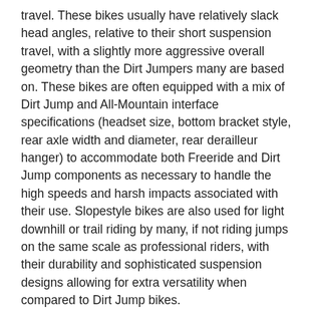travel. These bikes usually have relatively slack head angles, relative to their short suspension travel, with a slightly more aggressive overall geometry than the Dirt Jumpers many are based on. These bikes are often equipped with a mix of Dirt Jump and All-Mountain interface specifications (headset size, bottom bracket style, rear axle width and diameter, rear derailleur hanger) to accommodate both Freeride and Dirt Jump components as necessary to handle the high speeds and harsh impacts associated with their use. Slopestyle bikes are also used for light downhill or trail riding by many, if not riding jumps on the same scale as professional riders, with their durability and sophisticated suspension designs allowing for extra versatility when compared to Dirt Jump bikes.
Trials bikes are set up very specifically for the purpose of bicycle trials. Two varieties of trials bike exist, those with 26" wheels (referred to as 'stock') and those with 20" wheels (referred to as 'mod' - because historically they were modified BMX bikes). They typically have no suspension at all, though some still make use of some form of it. Competition rules require stock bikes to have multiple gears for competition, but most riders never use their